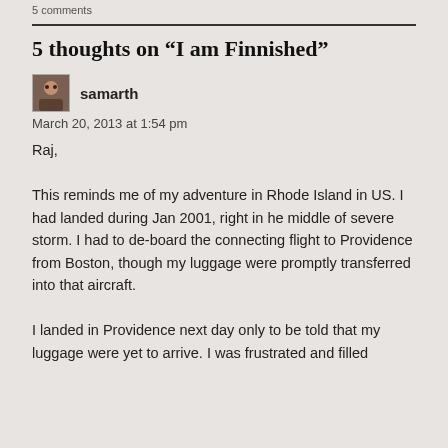5 comments
5 thoughts on “I am Finnished”
samarth
March 20, 2013 at 1:54 pm
Raj,

This reminds me of my adventure in Rhode Island in US. I had landed during Jan 2001, right in he middle of severe storm. I had to de-board the connecting flight to Providence from Boston, though my luggage were promptly transferred into that aircraft.

I landed in Providence next day only to be told that my luggage were yet to arrive. I was frustrated and filled